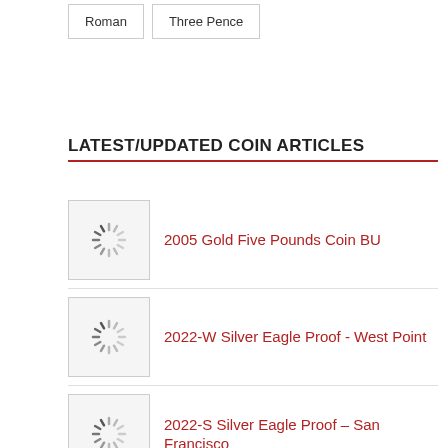Roman
Three Pence
LATEST/UPDATED COIN ARTICLES
2005 Gold Five Pounds Coin BU
2022-W Silver Eagle Proof - West Point
2022-S Silver Eagle Proof - San Francisco
1902 Gold Sovereign Proof
1892 Gold Sovereign Sydney